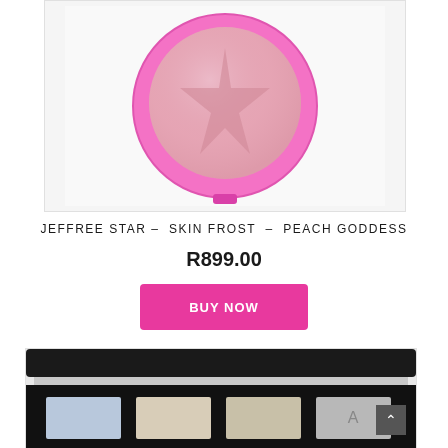[Figure (photo): Jeffree Star Skin Frost highlighter compact in Peach Goddess shade — round compact with hot pink border and a star embossed in peach/pink shimmer powder]
JEFFREE STAR – SKIN FROST – PEACH GODDESS
R899.00
BUY NOW
[Figure (photo): Mac or similar eyeshadow palette with black case, showing pale blue, cream/beige, and grey/silver shimmer shadow pans]